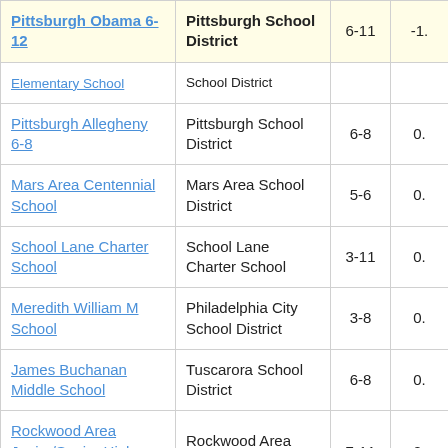| School | District | Grades | Score |
| --- | --- | --- | --- |
| Pittsburgh Obama 6-12 | Pittsburgh School District | 6-11 | -1. |
| Elementary School | School District |  |  |
| Pittsburgh Allegheny 6-8 | Pittsburgh School District | 6-8 | 0. |
| Mars Area Centennial School | Mars Area School District | 5-6 | 0. |
| School Lane Charter School | School Lane Charter School | 3-11 | 0. |
| Meredith William M School | Philadelphia City School District | 3-8 | 0. |
| James Buchanan Middle School | Tuscarora School District | 6-8 | 0. |
| Rockwood Area Junior/Senior High School | Rockwood Area School District | 7-11 | 0. |
| Mifflinburg Area Middle School | Mifflinburg Area School District | 6-9 | 0. |